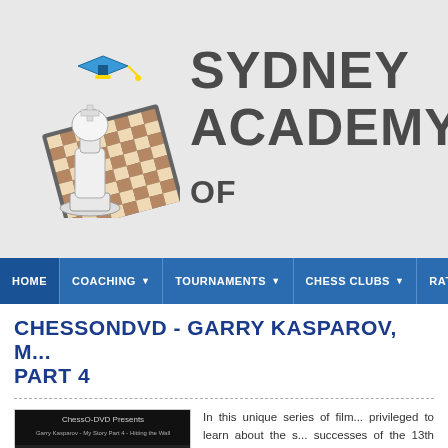[Figure (logo): Sydney Academy of Chess logo with chess pieces on a board and graduation cap]
SYDNEY ACADEMY OF
HOME | COACHING | TOURNAMENTS | CHESS CLUBS | RAT
CHESSONDVD - GARRY KASPAROV, M... PART 4
[Figure (photo): ChessOnDVD DVD cover showing chess pieces on a board with Garry Kasparov My Story Part 4 - Hitting the Wall text]
In this unique series of film... privileged to learn about the s... successes of the 13th World Ch... his own unique perspective. Th... epic journey from teenage... modern chess icon is chronicled... with revealing detail. For the fi... we go behind the scenes an... discover the real Garry Kasp...